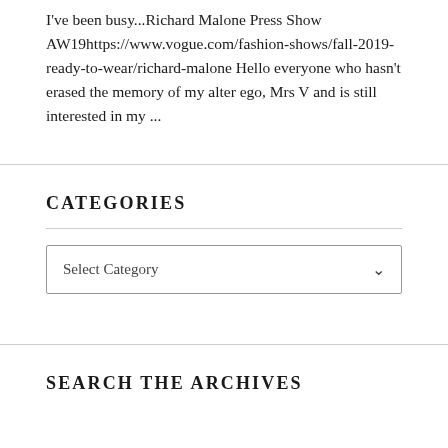I've been busy...Richard Malone Press Show AW19https://www.vogue.com/fashion-shows/fall-2019-ready-to-wear/richard-malone Hello everyone who hasn't erased the memory of my alter ego, Mrs V and is still interested in my ...
CATEGORIES
Select Category
SEARCH THE ARCHIVES